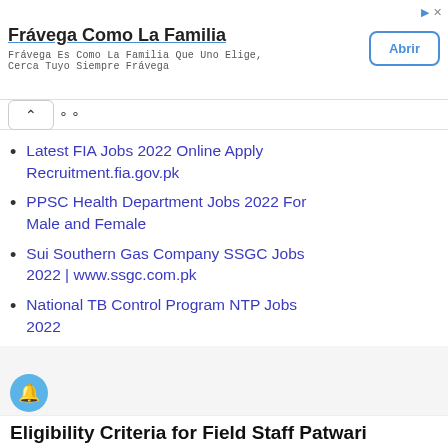[Figure (screenshot): Advertisement banner for 'Frávega Como La Familia' with title, subtitle text, and an 'Abrir' button. Includes small ad indicator icons in top right.]
Latest FIA Jobs 2022 Online Apply Recruitment.fia.gov.pk
PPSC Health Department Jobs 2022 For Male and Female
Sui Southern Gas Company SSGC Jobs 2022 | www.ssgc.com.pk
National TB Control Program NTP Jobs 2022
Eligibility Criteria for Field Staff Patwari